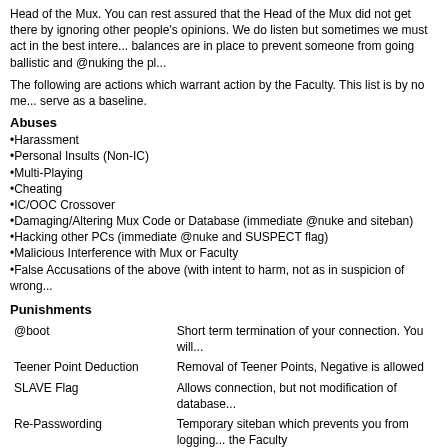Head of the Mux. You can rest assured that the Head of the Mux did not get there by ignoring other people's opinions. We do listen but sometimes we must act in the best interest... balances are in place to prevent someone from going ballistic and @nuking the pl...
The following are actions which warrant action by the Faculty. This list is by no means exhaustive but will serve as a baseline.
Abuses
•Harassment
•Personal Insults (Non-IC)
•Multi-Playing
•Cheating
•IC/OOC Crossover
•Damaging/Altering Mux Code or Database (immediate @nuke and siteban)
•Hacking other PCs (immediate @nuke and SUSPECT flag)
•Malicious Interference with Mux or Faculty
•False Accusations of the above (with intent to harm, not as in suspicion of wrong...)
Punishments
| Punishment | Description |
| --- | --- |
| @boot | Short term termination of your connection. You will... |
| Teener Point Deduction | Removal of Teener Points, Negative is allowed |
| SLAVE Flag | Allows connection, but not modification of database... |
| Re-Passwording | Temporary siteban which prevents you from logging... the Faculty |
| @nuke | Destruction of PC. You may be permitted to create... |
| Siteban | Permanent restriction from TFOS Mux. |
Disputes